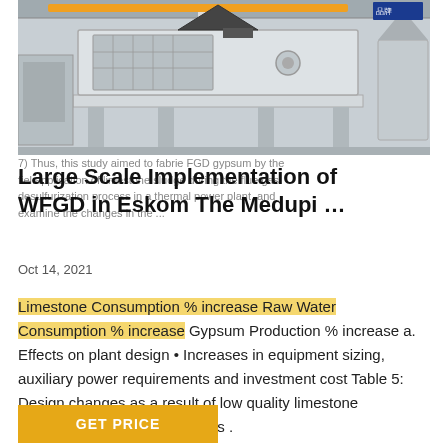[Figure (photo): Industrial machinery — large crusher/separator equipment in a factory/warehouse setting, light gray machine on a platform, overhead crane visible, additional machinery in background.]
7) Thus, this study aimed to fabrie FGD gypsum by the fiel application of limestone sludge during the flue gas desulfurization process in a thermal power plant, and examine the changes in the ...
Large Scale Implementation of WFGD in Eskom The Medupi …
Oct 14, 2021
Limestone Consumption % increase Raw Water Consumption % increase Gypsum Production % increase a. Effects on plant design • Increases in equipment sizing, auxiliary power requirements and investment cost Table 5: Design changes as a result of low quality limestone evaluated. b. Potential Process .
GET PRICE